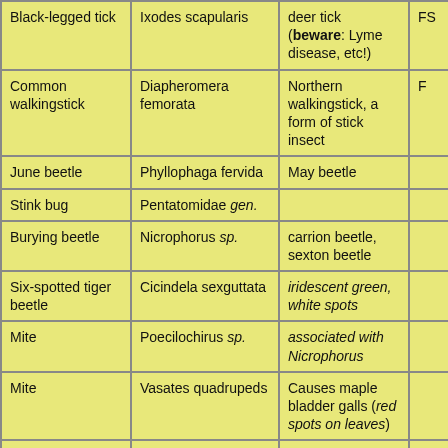| Black-legged tick | Ixodes scapularis | deer tick (beware: Lyme disease, etc!) | FS |
| Common walkingstick | Diapheromera femorata | Northern walkingstick, a form of stick insect | F |
| June beetle | Phyllophaga fervida | May beetle |  |
| Stink bug | Pentatomidae gen. |  |  |
| Burying beetle | Nicrophorus sp. | carrion beetle, sexton beetle |  |
| Six-spotted tiger beetle | Cicindela sexguttata | iridescent green, white spots |  |
| Mite | Poecilochirus sp. | associated with Nicrophorus |  |
| Mite | Vasates quadrupeds | Causes maple bladder galls (red spots on leaves) |  |
| Sumac gall | Melaphis rhois | Causes 1-2 cm, green to red galls |  |